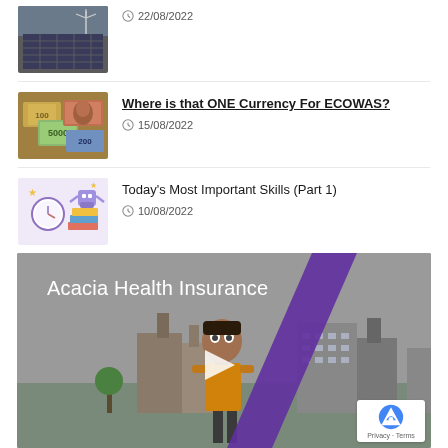[Figure (photo): Solar panels thumbnail image - top article]
22/08/2022
[Figure (photo): Currency/banknotes collage thumbnail]
Where is that ONE Currency For ECOWAS?
15/08/2022
[Figure (illustration): Cartoon illustration of clock, books, items representing skills]
Today's Most Important Skills (Part 1)
10/08/2022
[Figure (screenshot): Acacia Health Insurance video thumbnail - animated character in front of industrial background with purple diagonal stripe and play button]